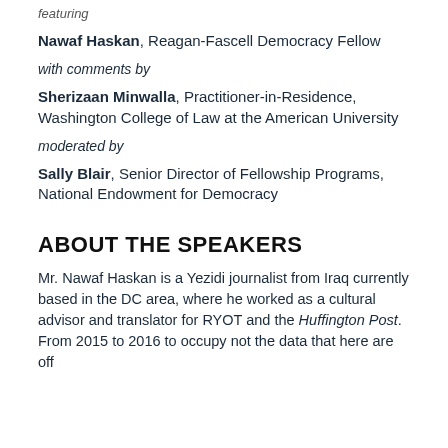featuring
Nawaf Haskan, Reagan-Fascell Democracy Fellow
with comments by
Sherizaan Minwalla, Practitioner-in-Residence, Washington College of Law at the American University
moderated by
Sally Blair, Senior Director of Fellowship Programs, National Endowment for Democracy
ABOUT THE SPEAKERS
Mr. Nawaf Haskan is a Yezidi journalist from Iraq currently based in the DC area, where he worked as a cultural advisor and translator for RYOT and the Huffington Post. From 2015 to 2016 to occupy not the data that here are off